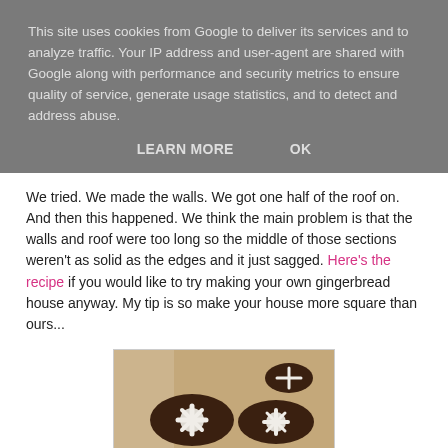This site uses cookies from Google to deliver its services and to analyze traffic. Your IP address and user-agent are shared with Google along with performance and security metrics to ensure quality of service, generate usage statistics, and to detect and address abuse.
LEARN MORE   OK
We tried. We made the walls. We got one half of the roof on. And then this happened. We think the main problem is that the walls and roof were too long so the middle of those sections weren't as solid as the edges and it just sagged. Here's the recipe if you would like to try making your own gingerbread house anyway. My tip is so make your house more square than ours...
[Figure (photo): Photo of gingerbread pieces with white icing/frosting on a wooden surface, showing failed gingerbread house parts laid flat]